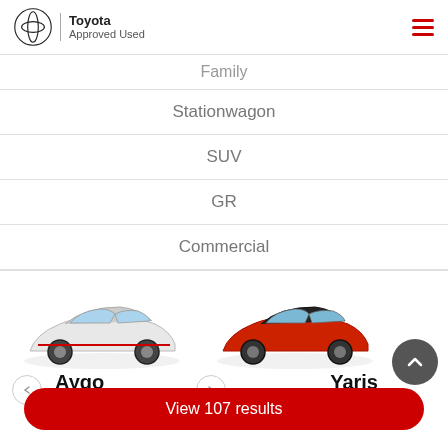Toyota Approved Used
Family
Stationwagon
SUV
GR
Commercial
[Figure (photo): White Toyota Aygo car facing left]
Aygo
[Figure (photo): Red Toyota Yaris car facing left]
Yaris
View 107 results